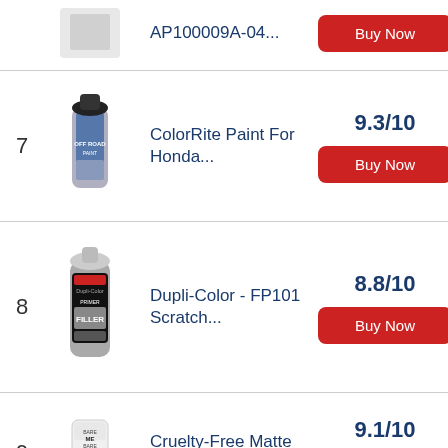AP100009A-04... | Buy Now (top partial row)
7 | ColorRite Paint For Honda... | 9.3/10 | Buy Now
8 | Dupli-Color - FP101 Scratch... | 8.8/10 | Buy Now
9 | Cruelty-Free Matte Makeup... | 9.1/10 | Buy Now